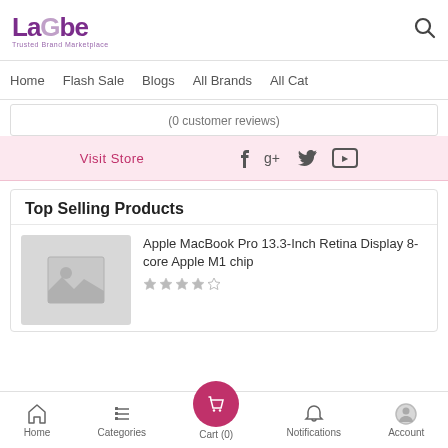LaGbe - Trusted Brand Marketplace
Home   Flash Sale   Blogs   All Brands   All Cat
(0 customer reviews)
Visit Store
Top Selling Products
Apple MacBook Pro 13.3-Inch Retina Display 8-core Apple M1 chip
Home   Categories   Cart (0)   Notifications   Account